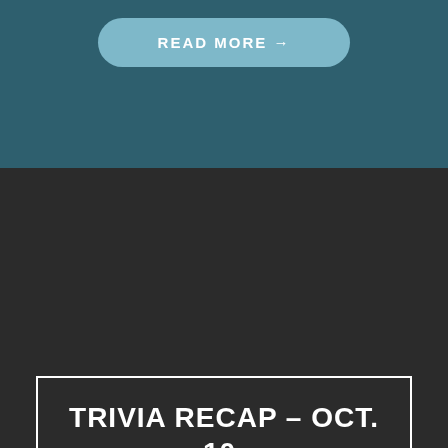READ MORE →
TRIVIA RECAP – OCT. 10, 2016 – YPSIALEHOUSE
We're no strangers to odd occurrences on our trivia nights. Once, Mike was poked in the ribs during a trivia game at Arbor Brewing